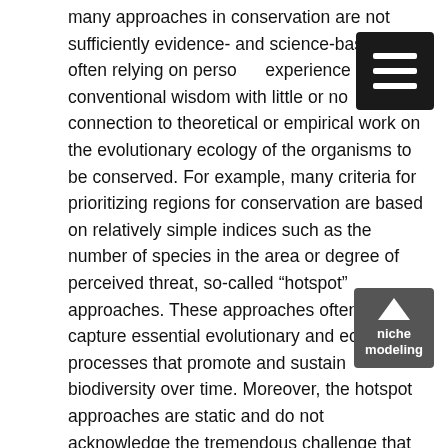many approaches in conservation are not sufficiently evidence- and science-based, often relying on personal experience or conventional wisdom with little or no connection to theoretical or empirical work on the evolutionary ecology of the organisms to be conserved. For example, many criteria for prioritizing regions for conservation are based on relatively simple indices such as the number of species in the area or degree of perceived threat, so-called “hotspot” approaches. These approaches often fail to capture essential evolutionary and ecological processes that promote and sustain biodiversity over time. Moreover, the hotspot approaches are static and do not acknowledge the tremendous challenge that global climate change poses for predicting where species will need to relocate, and how quickly. My group is engaged in a relatively new field called “niche modeling,” which takes data on the ecology of organisms targeted for conservation efforts, defines the biotic and climatic envelopes characterizing their current geographic